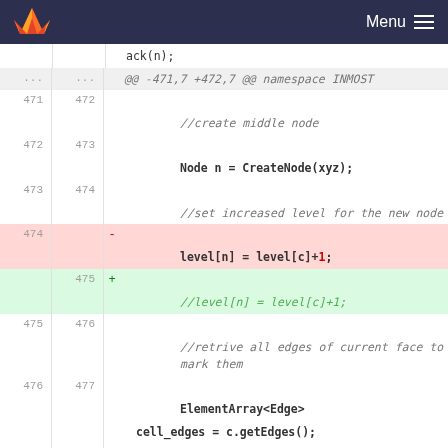Menu
[Figure (screenshot): GitLab-style code diff viewer showing a code change in C++ source. Lines 471-478 visible. A line is deleted (level[n] = level[c]+1;) and replaced with a commented-out version (//level[n] = level[c]+1;). Context includes CreateNode(xyz), comment blocks, and ElementArray<Edge> cell_edges = c.getEdges();.]